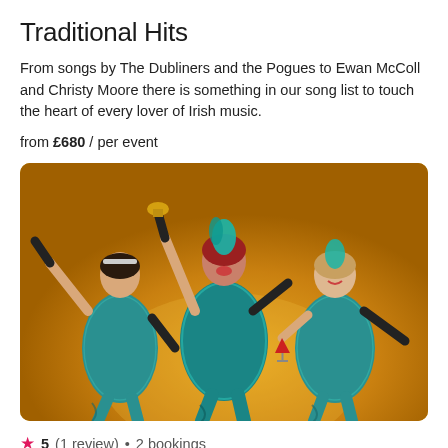Traditional Hits
From songs by The Dubliners and the Pogues to Ewan McColl and Christy Moore there is something in our song list to touch the heart of every lover of Irish music.
from £680 / per event
[Figure (photo): Three women in teal sequined flapper dresses with black gloves and teal feathered headbands, posing exuberantly against a golden-yellow background. The centre performer holds a drink aloft, the left performer gestures dramatically, and the right performer holds a red cocktail glass.]
★ 5 (1 review) • 2 bookings